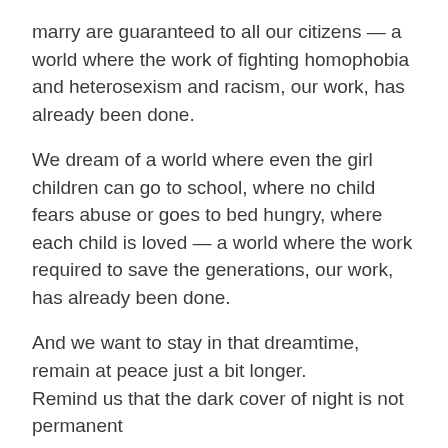marry are guaranteed to all our citizens — a world where the work of fighting homophobia and heterosexism and racism, our work, has already been done.
We dream of a world where even the girl children can go to school, where no child fears abuse or goes to bed hungry, where each child is loved — a world where the work required to save the generations, our work, has already been done.
And we want to stay in that dreamtime, remain at peace just a bit longer.
Remind us that the dark cover of night is not permanent
That light reveals a world unchanged from when we went to sleep
Do not allow us to flinch from the sure knowledge we are being summoned to our life's work, and must awaken.
Help us remember that as far as the eye can see, and